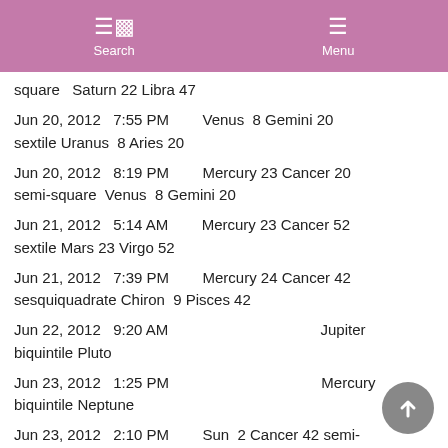Search  Menu
square  Saturn 22 Libra 47
Jun 20, 2012    7:55 PM             Venus  8 Gemini 20
sextile Uranus  8 Aries 20
Jun 20, 2012    8:19 PM             Mercury 23 Cancer 20
semi-square  Venus  8 Gemini 20
Jun 21, 2012    5:14 AM             Mercury 23 Cancer 52
sextile Mars 23 Virgo 52
Jun 21, 2012    7:39 PM             Mercury 24 Cancer 42
sesquiquadrate Chiron  9 Pisces 42
Jun 22, 2012    9:20 AM                             Jupiter
biquintile Pluto
Jun 23, 2012    1:25 PM                             Mercury
biquintile Neptune
Jun 23, 2012    2:10 PM             Sun  2 Cancer 42 semi-